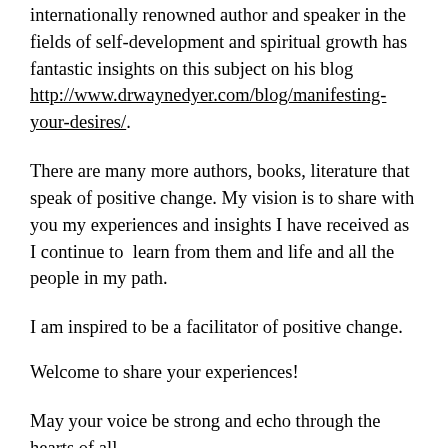internationally renowned author and speaker in the fields of self-development and spiritual growth has fantastic insights on this subject on his blog http://www.drwaynedyer.com/blog/manifesting-your-desires/.
There are many more authors, books, literature that speak of positive change. My vision is to share with you my experiences and insights I have received as I continue to  learn from them and life and all the people in my path.
I am inspired to be a facilitator of positive change.
Welcome to share your experiences!
May your voice be strong and echo through the hearts of all.